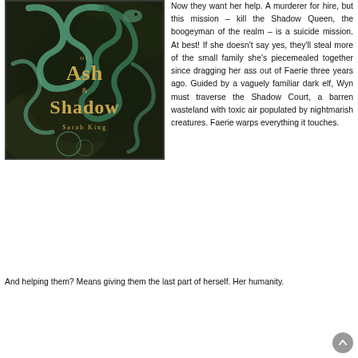[Figure (illustration): Book cover of 'Of Ash & Shadow' by Sarah King — dark fantasy cover featuring serpentine/snake decorative elements in teal/green over a dark background with gold lettering]
Now they want her help. A murderer for hire, but this mission – kill the Shadow Queen, the boogeyman of the realm – is a suicide mission. At best! If she doesn't say yes, they'll steal more of the small family she's piecemealed together since dragging her ass out of Faerie three years ago. Guided by a vaguely familiar dark elf, Wyn must traverse the Shadow Court, a barren wasteland with toxic air populated by nightmarish creatures. Faerie warps everything it touches.
And helping them? Means giving them the last part of herself. Her humanity.